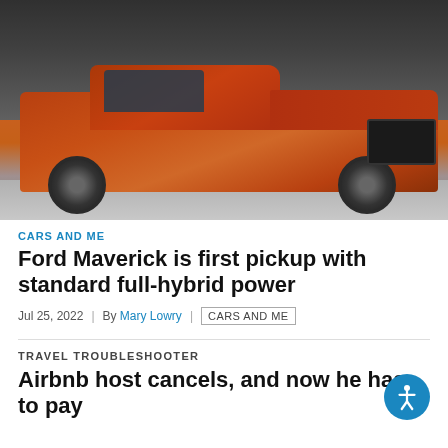[Figure (photo): Orange/red Ford Maverick pickup truck parked in front of a building, photographed from a three-quarter front angle.]
CARS AND ME
Ford Maverick is first pickup with standard full-hybrid power
Jul 25, 2022  |  By Mary Lowry  |  CARS AND ME
TRAVEL TROUBLESHOOTER
Airbnb host cancels, and now he has to pay